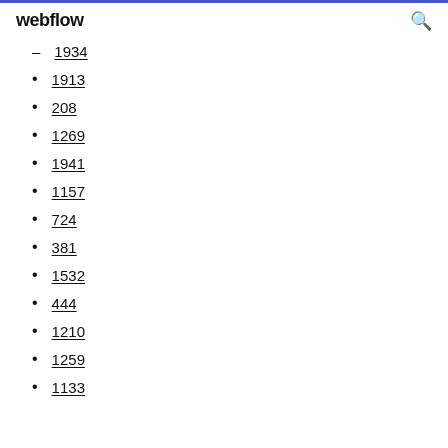webflow
1934
1913
208
1269
1941
1157
724
381
1532
444
1210
1259
1133